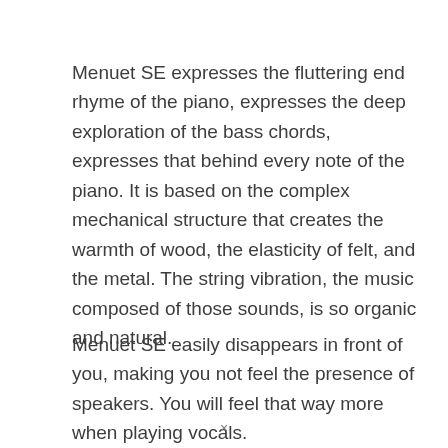Menuet SE expresses the fluttering end rhyme of the piano, expresses the deep exploration of the bass chords, expresses that behind every note of the piano. It is based on the complex mechanical structure that creates the warmth of wood, the elasticity of felt, and the metal. The string vibration, the music composed of those sounds, is so organic and natural.
Menuet SE easily disappears in front of you, making you not feel the presence of speakers. You will feel that way more when playing vocals. Listening to the collection of French songs